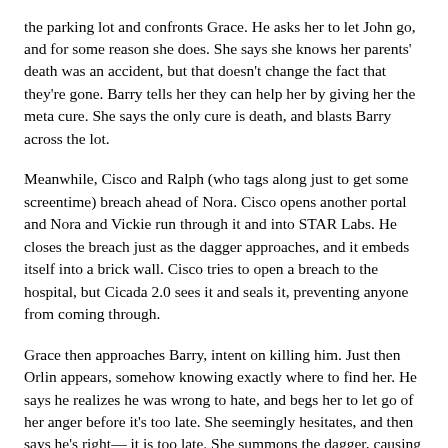the parking lot and confronts Grace. He asks her to let John go, and for some reason she does. She says she knows her parents' death was an accident, but that doesn't change the fact that they're gone. Barry tells her they can help her by giving her the meta cure. She says the only cure is death, and blasts Barry across the lot.
Meanwhile, Cisco and Ralph (who tags along just to get some screentime) breach ahead of Nora. Cisco opens another portal and Nora and Vickie run through it and into STAR Labs. He closes the breach just as the dagger approaches, and it embeds itself into a brick wall. Cisco tries to open a breach to the hospital, but Cicada 2.0 sees it and seals it, preventing anyone from coming through.
Grace then approaches Barry, intent on killing him. Just then Orlin appears, somehow knowing exactly where to find her. He says he realizes he was wrong to hate, and begs her to let go of her anger before it's too late. She seemingly hesitates, and then says he's right— it is too late. She summons the dagger, causing it to pull out of the brick wall. It flies back to the hospital, where it stabs Orlin in the back